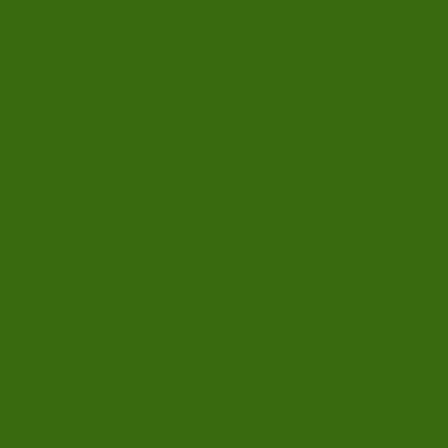something I place s... gathered my 4 favo... from Korea in a Ya... her name or her Ya...
Here is my sketch.
[Figure (illustration): A pencil sketch of a decorative cup or bowl with floral patterns, drawn in black and white, with a soft shadow beneath it.]
My goal was to foc... I bet you'd like to s... the real cups up lat...
Peace,